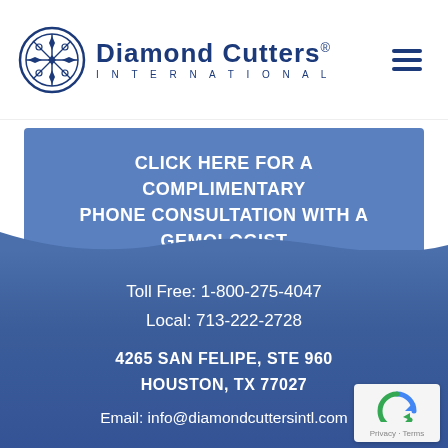[Figure (logo): Diamond Cutters International logo with circular emblem and navy text]
CLICK HERE FOR A COMPLIMENTARY PHONE CONSULTATION WITH A GEMOLOGIST
Toll Free: 1-800-275-4047
Local: 713-222-2728
4265 SAN FELIPE, STE 960
HOUSTON, TX 77027
Email: info@diamondcuttersintl.com
MON-FRI 9:00am - 5:00pm
SAT 9:00am - 12:00pm
SUN Closed